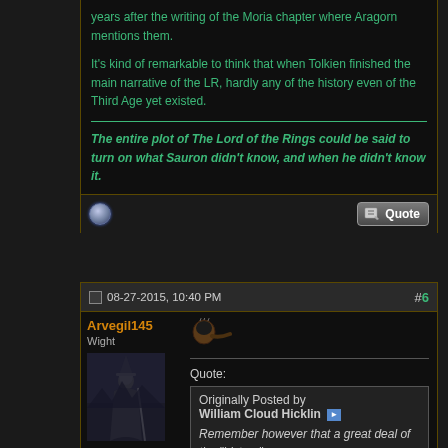years after the writing of the Moria chapter where Aragorn mentions them.
It's kind of remarkable to think that when Tolkien finished the main narrative of the LR, hardly any of the history even of the Third Age yet existed.
The entire plot of The Lord of the Rings could be said to turn on what Sauron didn't know, and when he didn't know it.
08-27-2015, 10:40 PM
#6
Arvegil145
Wight
Join Date: Sep 2010
Location: Tol Morwen
Posts: 125
Quote:
Originally Posted by William Cloud Hicklin
Remember however that a great deal of the "history" was a